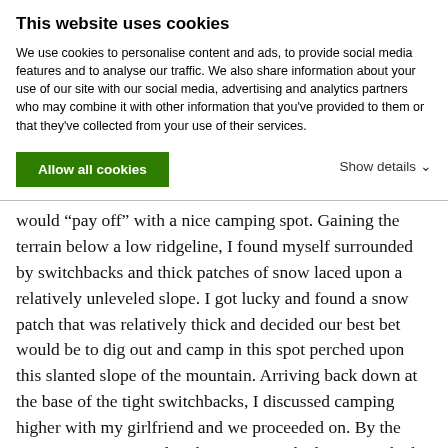This website uses cookies
We use cookies to personalise content and ads, to provide social media features and to analyse our traffic. We also share information about your use of our site with our social media, advertising and analytics partners who may combine it with other information that you've provided to them or that they've collected from your use of their services.
Allow all cookies
Show details
would “pay off” with a nice camping spot. Gaining the terrain below a low ridgeline, I found myself surrounded by switchbacks and thick patches of snow laced upon a relatively unleveled slope. I got lucky and found a snow patch that was relatively thick and decided our best bet would be to dig out and camp in this spot perched upon this slanted slope of the mountain. Arriving back down at the base of the tight switchbacks, I discussed camping higher with my girlfriend and we proceeded on. By the time we were situated with gear, etc at the location, I had traversed the section 5 times (go up and scout, go down, go up with my pack and girlfriend, go down, go up with my girlfriend’s pack). My girlfriend is an extremely strong